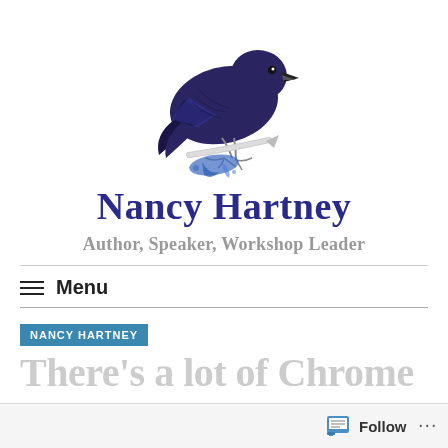[Figure (illustration): A raven/crow holding a quill pen with a blue ink splash, illustrated in pen-and-ink style]
Nancy Hartney
Author, Speaker, Workshop Leader
≡ Menu
NANCY HARTNEY
There's a lot of Chrome